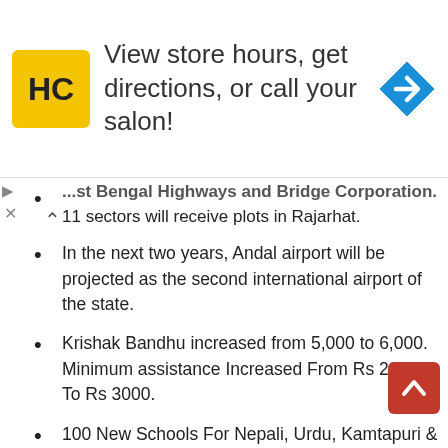[Figure (screenshot): Advertisement banner for HC (Hair Club) salon with logo, text 'View store hours, get directions, or call your salon!' and a blue navigation/directions diamond icon.]
...st Bengal Highways and Bridge Corporation. 11 sectors will receive plots in Rajarhat.
In the next two years, Andal airport will be projected as the second international airport of the state.
Krishak Bandhu increased from 5,000 to 6,000. Minimum assistance Increased From Rs 2000 To Rs 3000.
100 New Schools For Nepali, Urdu, Kamtapuri & Kurmali Language .
1.5 lakh refugees will be given land documents in steps . Rs 100 crore has been allotted for this purpose.
45 lakh Construction and transport workers will be given 1,000 rupees under social security scheme
* Loan provision of Rs. 25,000 crore announced for 10...